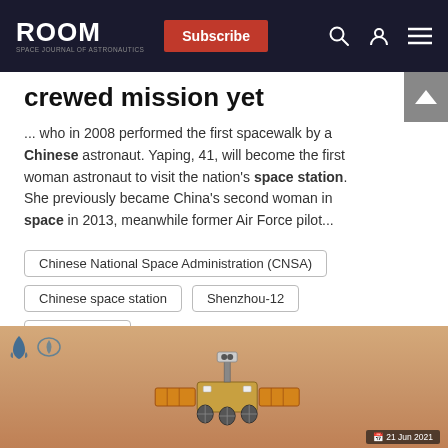ROOM — Subscribe
crewed mission yet
... who in 2008 performed the first spacewalk by a Chinese astronaut. Yaping, 41, will become the first woman astronaut to visit the nation's space station. She previously became China's second woman in space in 2013, meanwhile former Air Force pilot...
Chinese National Space Administration (CNSA)
Chinese space station
Shenzhou-12
Shenzhou-13
[Figure (photo): Photo of a Chinese Mars rover (Zhurong) displayed against an orange/brown background, with CNSA and CASC logos visible in the top left. A date badge is partially visible at the bottom right.]